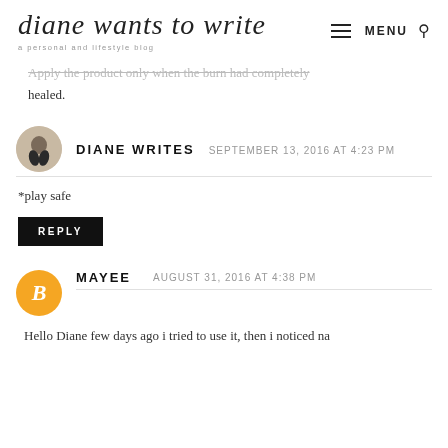diane wants to write — a personal and lifestyle blog
Apply the product only when the burn had completely healed.
DIANE WRITES   SEPTEMBER 13, 2016 AT 4:23 PM
*play safe
REPLY
MAYEE   AUGUST 31, 2016 AT 4:38 PM
Hello Diane few days ago i tried to use it, then i noticed na